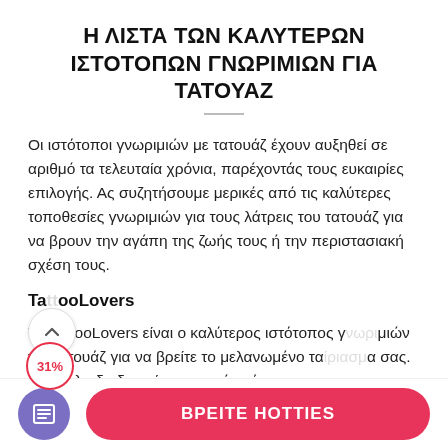Η ΛΙΣΤΑ ΤΩΝ ΚΑΛΥΤΕΡΩΝ ΙΣΤΟΤΟΠΩΝ ΓΝΩΡΙΜΙΩΝ ΓΙΑ ΤΑΤΟΥΑΖ
Οι ιστότοποι γνωριμιών με τατουάζ έχουν αυξηθεί σε αριθμό τα τελευταία χρόνια, παρέχοντάς τους ευκαιρίες επιλογής. Ας συζητήσουμε μερικές από τις καλύτερες τοποθεσίες γνωριμιών για τους λάτρεις του τατουάζ για να βρουν την αγάπη της ζωής τους ή την περιστασιακή σχέση τους.
TattooLovers
TattooLovers είναι ο καλύτερος ιστότοπος γνωριμιών για τατουάζ για να βρείτε το μελανωμένο ταίριασμα σας. Η εύκολη διαδικασία εγγραφής μέσω...